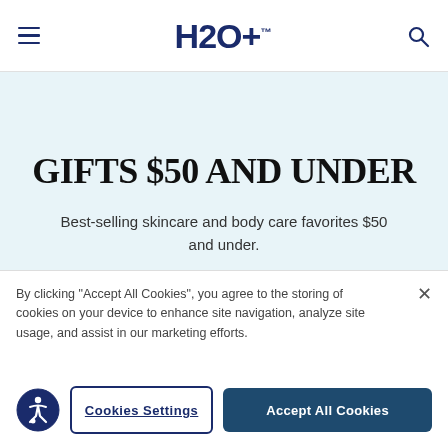H2O+™
GIFTS $50 AND UNDER
Best-selling skincare and body care favorites $50 and under.
SHOP NOW
By clicking "Accept All Cookies", you agree to the storing of cookies on your device to enhance site navigation, analyze site usage, and assist in our marketing efforts.
Cookies Settings
Accept All Cookies